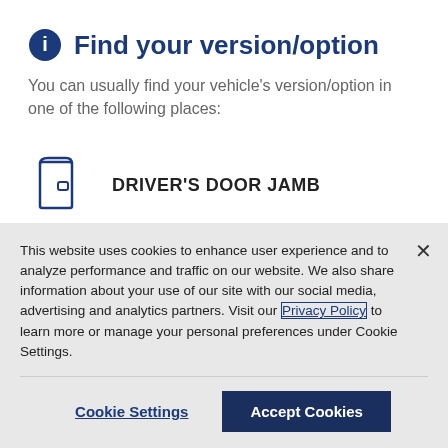Find your version/option
You can usually find your vehicle's version/option in one of the following places:
DRIVER'S DOOR JAMB
OWNER'S MANUAL
This website uses cookies to enhance user experience and to analyze performance and traffic on our website. We also share information about your use of our site with our social media, advertising and analytics partners. Visit our Privacy Policy to learn more or manage your personal preferences under Cookie Settings.
Cookie Settings
Accept Cookies